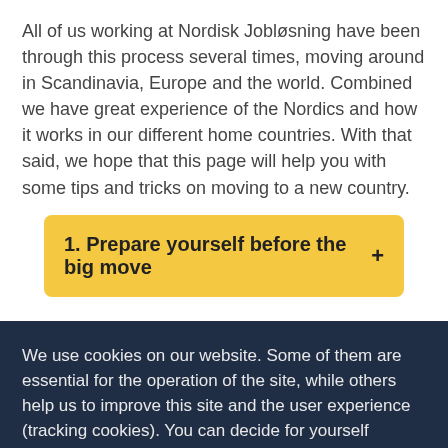All of us working at Nordisk Jobløsning have been through this process several times, moving around in Scandinavia, Europe and the world. Combined we have great experience of the Nordics and how it works in our different home countries. With that said, we hope that this page will help you with some tips and tricks on moving to a new country.
1. Prepare yourself before the big move +
We use cookies on our website. Some of them are essential for the operation of the site, while others help us to improve this site and the user experience (tracking cookies). You can decide for yourself whether you want to allow cookies or not. Please note that if you reject them, you may not be able to use all the functionalities of the site.